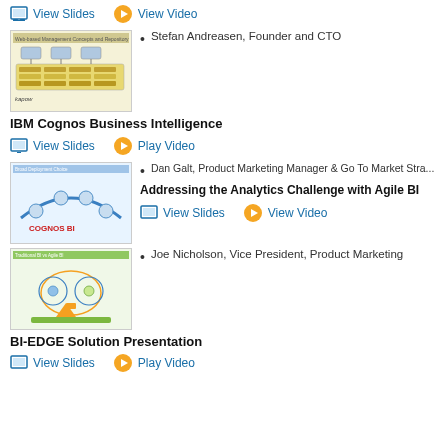View Slides | View Video (top links)
[Figure (screenshot): Thumbnail of a presentation slide about web-based management concepts and repository]
Stefan Andreasen, Founder and CTO
IBM Cognos Business Intelligence
View Slides | Play Video
[Figure (screenshot): Thumbnail of a presentation slide showing Cognos BI deployment with COGNOS BI logo]
Dan Galt, Product Marketing Manager & Go To Market Stra...
Addressing the Analytics Challenge with Agile BI
View Slides | View Video
[Figure (screenshot): Thumbnail of a presentation slide about BI-EDGE solution with circular diagram]
Joe Nicholson, Vice President, Product Marketing
BI-EDGE Solution Presentation
View Slides | Play Video